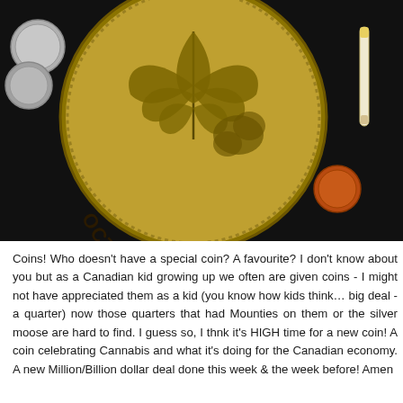[Figure (photo): A large gold-colored coin engraved with a cannabis leaf and the text 'OCTOBER 17, 2018' along its bottom arc. The coin is surrounded by smaller coins on the left, a penny and a rolled cigarette/joint on the right, all on a dark background.]
Coins! Who doesn't have a special coin? A favourite? I don't know about you but as a Canadian kid growing up we often are given coins - I might not have appreciated them as a kid (you know how kids think… big deal - a quarter) now those quarters that had Mounties on them or the silver moose are hard to find. I guess so, I thnk it's HIGH time for a new coin! A coin celebrating Cannabis and what it's doing for the Canadian economy. A new Million/Billion dollar deal done this week & the week before! Amen